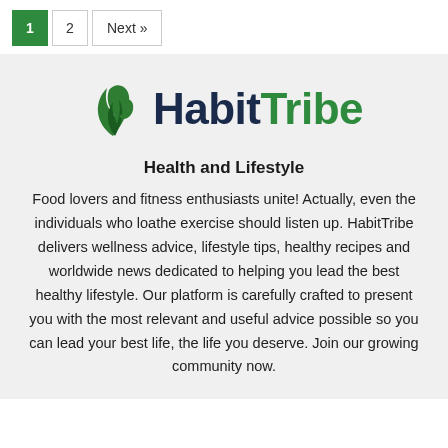1  2  Next »
[Figure (logo): HabitTribe logo with a green flame/leaf SVG icon and the text 'HabitTribe' where 'Habit' is dark navy and 'Tribe' is green]
Health and Lifestyle
Food lovers and fitness enthusiasts unite! Actually, even the individuals who loathe exercise should listen up. HabitTribe delivers wellness advice, lifestyle tips, healthy recipes and worldwide news dedicated to helping you lead the best healthy lifestyle. Our platform is carefully crafted to present you with the most relevant and useful advice possible so you can lead your best life, the life you deserve. Join our growing community now.